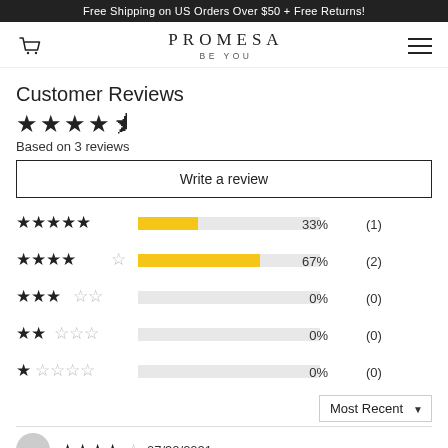Free Shipping on US Orders Over $50 + Free Returns!
[Figure (logo): Promesa Be You brand logo with cart icon and hamburger menu]
Customer Reviews
★★★★☆ Based on 3 reviews
Write a review
[Figure (bar-chart): Rating distribution]
Most Recent
[Figure (other): Partial review with avatar, 4.5 stars and date 07/30/2021]